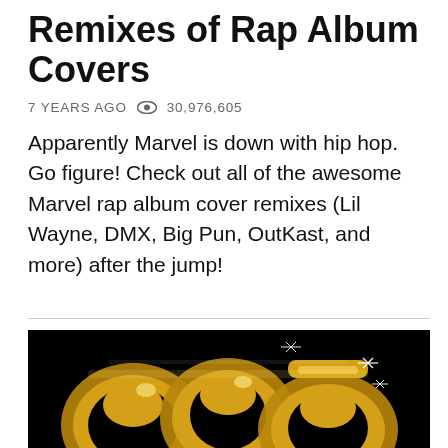Remixes of Rap Album Covers
7 YEARS AGO  30,976,605
Apparently Marvel is down with hip hop. Go figure! Check out all of the awesome Marvel rap album cover remixes (Lil Wayne, DMX, Big Pun, OutKast, and more) after the jump!
[Figure (photo): Black background with large golden 3D graffiti-style numbers, sparkle/glint effects visible on the gold metallic letters]